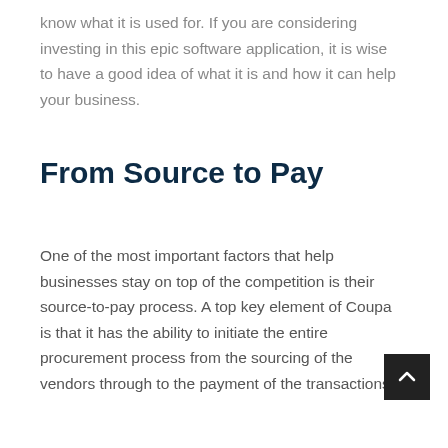know what it is used for. If you are considering investing in this epic software application, it is wise to have a good idea of what it is and how it can help your business.
From Source to Pay
One of the most important factors that help businesses stay on top of the competition is their source-to-pay process. A top key element of Coupa is that it has the ability to initiate the entire procurement process from the sourcing of the vendors through to the payment of the transactions.